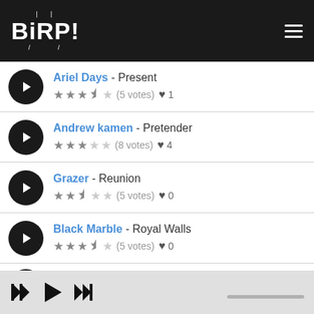BIRP! - music app header with hamburger menu
Ariel Days - Present, 3.5 stars (5 votes), 1 favorite
Andrew kamen - Pretender, 3 stars (8 votes), 4 favorites
Grazer - Reunion, 2.5 stars (5 votes), 0 favorites
Black Marble - Royal Walls, 3.5 stars (5 votes), 0 favorites
Cannons - Ruthless, 4 stars (11 votes), 5 favorites
Player controls: skip back, play, skip forward, progress bar